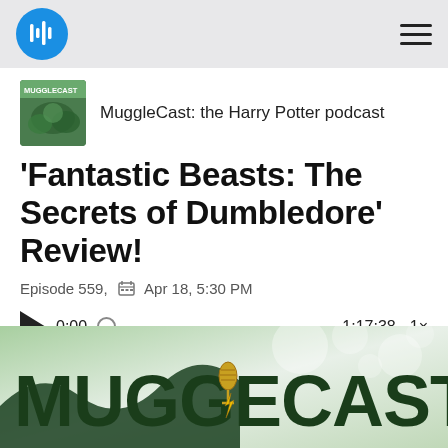MuggleCast app header with logo and hamburger menu
[Figure (logo): MuggleCast podcast thumbnail showing green leaves/plants with MUGGLECAST text]
MuggleCast: the Harry Potter podcast
'Fantastic Beasts: The Secrets of Dumbledore' Review!
Episode 559,  Apr 18, 5:30 PM
0:00  1:17:38  1×
[Figure (logo): MUGGLECAST banner with large dark green text and gold microphone lightning bolt logo on green/white background]